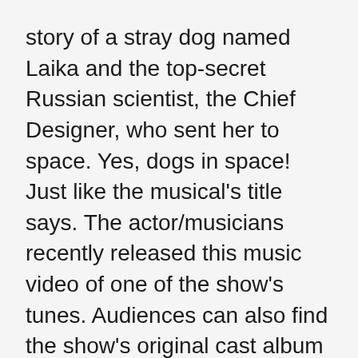story of a stray dog named Laika and the top-secret Russian scientist, the Chief Designer, who sent her to space. Yes, dogs in space! Just like the musical's title says. The actor/musicians recently released this music video of one of the show's tunes. Audiences can also find the show's original cast album available on Ghostlight Records.
Ultimate 🐾🐾 moment: The sweet clips of the adorable pups in this video. Come on! Please listen to all of the lyrics because they are super clever "astronauts" and "connecting all the dots" for example. We love the moment at 2:13 between Van and Nick. So funny and